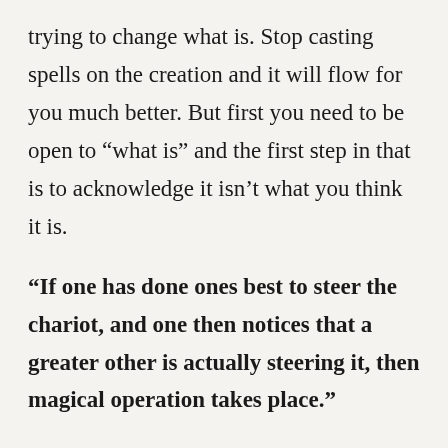trying to change what is. Stop casting spells on the creation and it will flow for you much better. But first you need to be open to “what is” and the first step in that is to acknowledge it isn’t what you think it is.
“If one has done ones best to steer the chariot, and one then notices that a greater other is actually steering it, then magical operation takes place.”